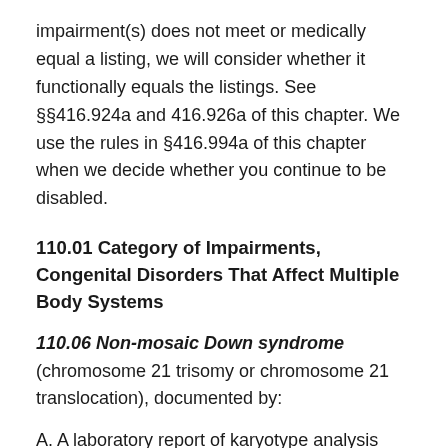impairment(s) does not meet or medically equal a listing, we will consider whether it functionally equals the listings. See §§416.924a and 416.926a of this chapter. We use the rules in §416.994a of this chapter when we decide whether you continue to be disabled.
110.01 Category of Impairments, Congenital Disorders That Affect Multiple Body Systems
110.06 Non-mosaic Down syndrome (chromosome 21 trisomy or chromosome 21 translocation), documented by:
A. A laboratory report of karyotype analysis signed by a physician, or both a laboratory report of karyotype analysis and a physician's...